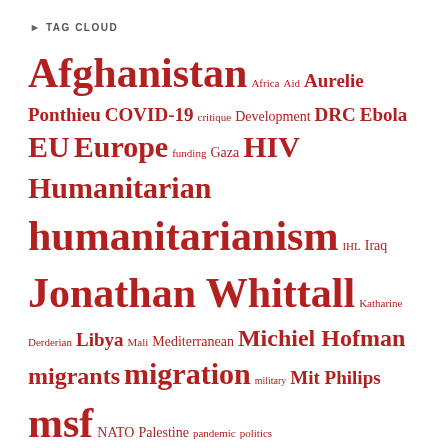TAG CLOUD
Afghanistan Africa Aid Aurelie Ponthieu COVID-19 critique Development DRC Ebola EU Europe funding Gaza HIV Humanitarian humanitarianism IHL Iraq Jonathan Whittall Katharine Derderian Libya Mali Mediterranean Michiel Hofman migrants migration military Mit Philips msf NATO Palestine pandemic politics refugees Resilience siege South Sudan Syria Terrorism UN United States US war on terror WHO Yemen
DISCLAIMER
The opinions and analyses contained in this website are those of the author(s)